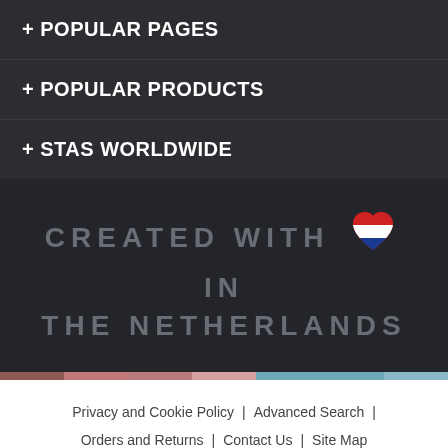+ POPULAR PAGES
+ POPULAR PRODUCTS
+ STAS WORLDWIDE
CREATED WITH ♥ IN THE NETHERLANDS
Privacy and Cookie Policy | Advanced Search | Orders and Returns | Contact Us | Site Map
Copyright © 2021 - STAS Picture Hanging Systems B.V. All rights
We're Online!  Chat now